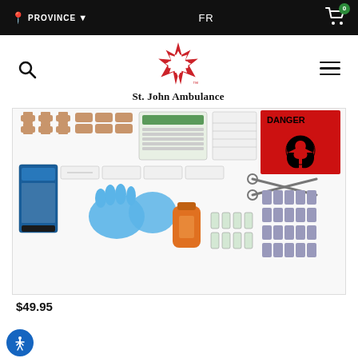PROVINCE  FR  0
[Figure (logo): St. John Ambulance logo — red maple leaf with white Maltese cross, with trademark symbol, and text 'St. John Ambulance' below]
[Figure (photo): First aid kit contents spread out: various bandages, gloves, scissors, gauze, antiseptic, biohazard bags with DANGER label, and other medical supplies]
$49.95